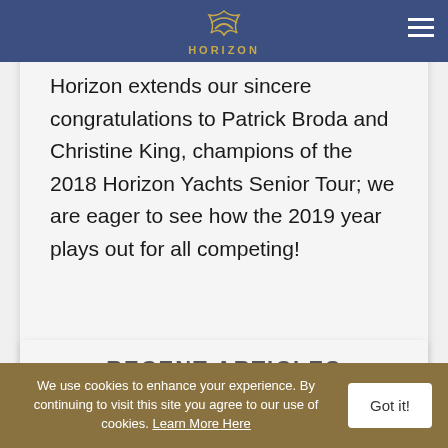HORIZON
Horizon extends our sincere congratulations to Patrick Broda and Christine King, champions of the 2018 Horizon Yachts Senior Tour; we are eager to see how the 2019 year plays out for all competing!
RECENT ARTICLES
We use cookies to enhance your experience. By continuing to visit this site you agree to our use of cookies. Learn More Here